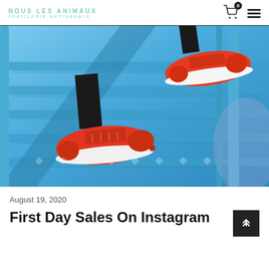NOUS LES ANIMAUX / JOAILLERIE ARTISANALE
[Figure (photo): Person walking up blue metal stairs wearing red sneakers, close-up photo from below showing two feet on steps]
August 19, 2020
First Day Sales On Instagram